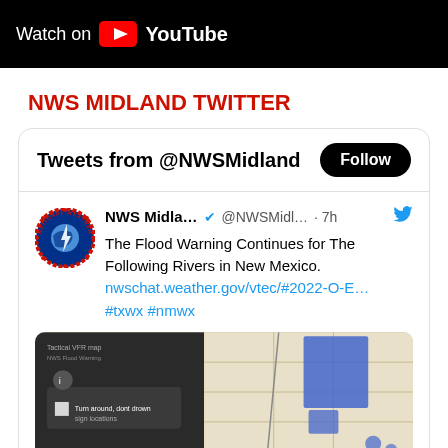[Figure (screenshot): YouTube 'Watch on YouTube' black bar with YouTube logo and text]
NWS MIDLAND TWITTER
[Figure (screenshot): Twitter widget embed showing Tweets from @NWSMidland with a Follow button, a tweet from NWS Midland about Flood Warning for rivers in New Mexico with a link and hashtags #txwx #nmwx, and a partial map image showing flood warning areas in blue]
The Flood Warning Continues for The Following Rivers in New Mexico. nwschat.weather.gov/vtec/#2022-O-E… #txwx #nmwx